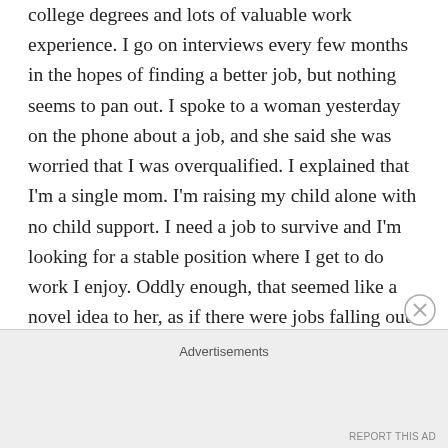college degrees and lots of valuable work experience. I go on interviews every few months in the hopes of finding a better job, but nothing seems to pan out. I spoke to a woman yesterday on the phone about a job, and she said she was worried that I was overqualified. I explained that I'm a single mom. I'm raising my child alone with no child support. I need a job to survive and I'm looking for a stable position where I get to do work I enjoy. Oddly enough, that seemed like a novel idea to her, as if there were jobs falling out of the sky and I had my pick. We'll see if I pass the personality test she sent me as part of the interview process. That's right. I took an online personality test today to see if my personality, not just my education and years of
Advertisements